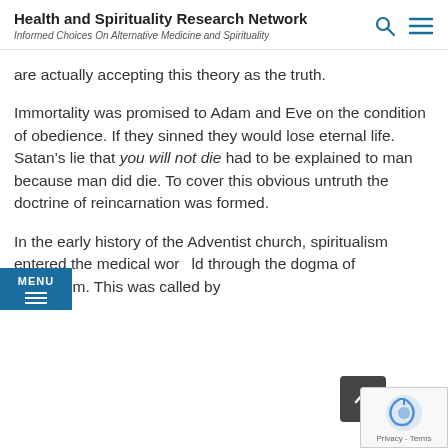Health and Spirituality Research Network
Informed Choices On Alternative Medicine and Spirituality
are actually accepting this theory as the truth.
Immortality was promised to Adam and Eve on the condition of obedience. If they sinned they would lose eternal life. Satan’s lie that you will not die had to be explained to man because man did die. To cover this obvious untruth the doctrine of reincarnation was formed.
In the early history of the Adventist church, spiritualism entered the medical world through the dogma of pantheism. This was called by